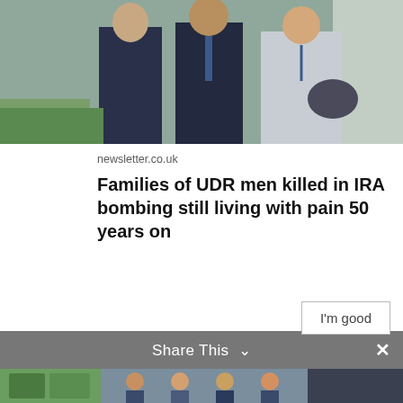[Figure (photo): Group of people standing outdoors, wearing formal attire (suits), photographed from waist up]
newsletter.co.uk
Families of UDR men killed in IRA bombing still living with pain 50 years on
[Figure (photo): Avatar photo of Ruth Dudley Edwards, a woman with curly dark hair and colourful hairpiece]
Ruth Dudley Edwards @RuthDE · 12m
No surprise that Sinn Fein are economic illiterates...
Privacy & Cookies: This site uses cookies. By continuing to use this website, you agree to their use.
To find out more, including how to control cookies, see here: Cookie Policy
I'm good
Share This
[Figure (photo): Thumbnail images at the bottom of the page showing people]